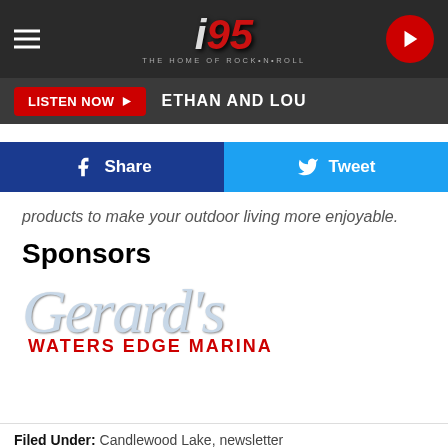i95 The Home of Rock-n-Roll — navigation bar
LISTEN NOW | ETHAN AND LOU
[Figure (infographic): Facebook Share button and Twitter Tweet button in a two-column social sharing row]
products to make your outdoor living more enjoyable.
Sponsors
[Figure (logo): Gerard's Waters Edge Marina logo — cursive 'Gerard's' in light blue-grey above bold red 'WATERS EDGE MARINA']
Filed Under: Candlewood Lake, newsletter